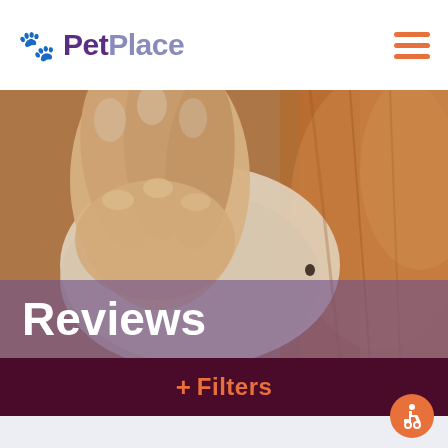PetPlace
[Figure (photo): Close-up photo of a human hand examining or petting a dog's ear. The dog appears to have golden/reddish fur. The image is slightly blurred/soft focus.]
Reviews
+ Filters